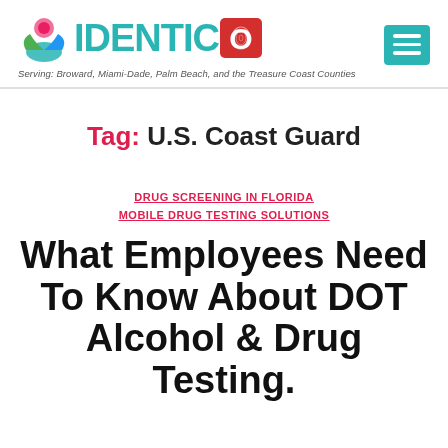[Figure (logo): IDENTICO logo with colorful person icon and fingerprint O, teal and red colors, hamburger menu icon in teal square top right]
Serving: Broward, Miami-Dade, Palm Beach, and the Treasure Coast Counties
Tag: U.S. Coast Guard
DRUG SCREENING IN FLORIDA
MOBILE DRUG TESTING SOLUTIONS
What Employees Need To Know About DOT Alcohol & Drug Testing. Part...